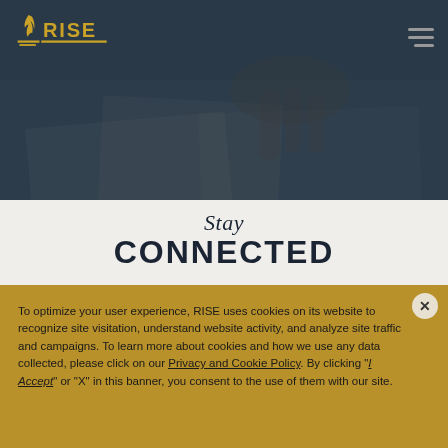RISE
[Figure (photo): Dark toned hero background image showing hands working on paper/documents on a desk, overlaid with dark navy blue tint]
Stay CONNECTED
To optimize your user experience, RISE uses cookies on its website to recognize site visitation, understand website activity, and analyze site traffic and campaigns. To learn more about cookies and how we use any data collected, please click on our Privacy and Cookie Policy. By clicking "I Accept" or "X" in this banner, you consent to the use of them with our site.